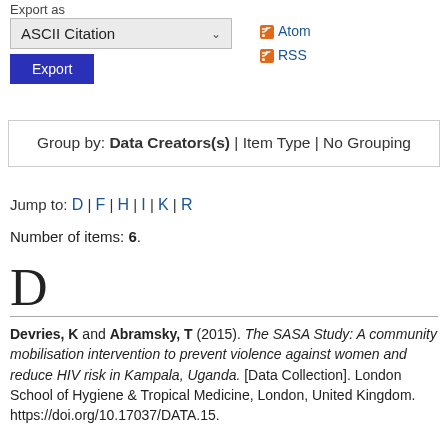Export as
ASCII Citation [dropdown] | Atom | RSS
Export [button]
Group by: Data Creators(s) | Item Type | No Grouping
Jump to: D | F | H | I | K | R
Number of items: 6.
D
Devries, K and Abramsky, T (2015). The SASA Study: A community mobilisation intervention to prevent violence against women and reduce HIV risk in Kampala, Uganda. [Data Collection]. London School of Hygiene & Tropical Medicine, London, United Kingdom. https://doi.org/10.17037/DATA.15.